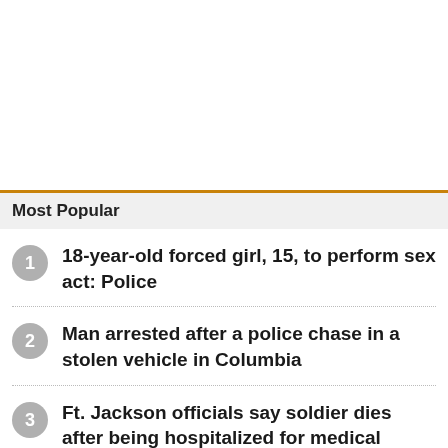Most Popular
18-year-old forced girl, 15, to perform sex act: Police
Man arrested after a police chase in a stolen vehicle in Columbia
Ft. Jackson officials say soldier dies after being hospitalized for medical emergency